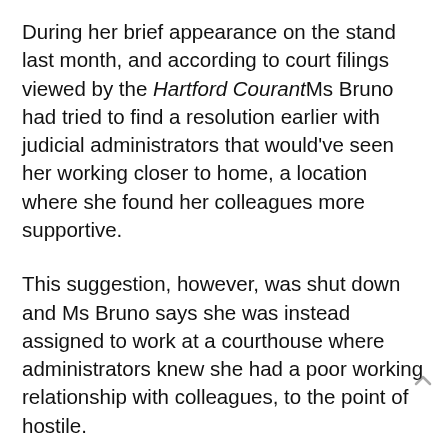During her brief appearance on the stand last month, and according to court filings viewed by the Hartford Courant, Ms Bruno had tried to find a resolution earlier with judicial administrators that would've seen her working closer to home, a location where she found her colleagues more supportive.
This suggestion, however, was shut down and Ms Bruno says she was instead assigned to work at a courthouse where administrators knew she had a poor working relationship with colleagues, to the point of hostile.
"Judge Bruno is clearly dismayed that issues involving her medical conditions interfered with her ability to continue to serve as a judge," Jacques Pareteau, the judge's attorney, said to the Hartford